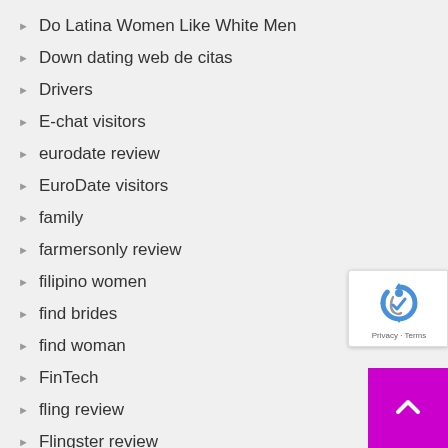Do Latina Women Like White Men
Down dating web de citas
Drivers
E-chat visitors
eurodate review
EuroDate visitors
family
farmersonly review
filipino women
find brides
find woman
FinTech
fling review
Flingster review
Flingster visitors